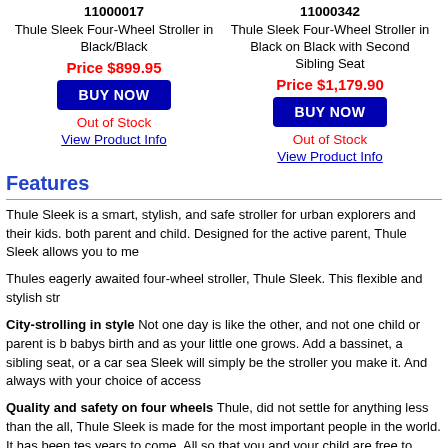11000017
11000342
Thule Sleek Four-Wheel Stroller in Black/Black
Thule Sleek Four-Wheel Stroller in Black on Black with Second Sibling Seat
Price $899.95
Price $1,179.90
BUY NOW
BUY NOW
Out of Stock
Out of Stock
View Product Info
View Product Info
Features
Thule Sleek is a smart, stylish, and safe stroller for urban explorers and their kids. both parent and child. Designed for the active parent, Thule Sleek allows you to me
Thules eagerly awaited four-wheel stroller, Thule Sleek. This flexible and stylish str
City-strolling in style Not one day is like the other, and not one child or parent is b babys birth and as your little one grows. Add a bassinet, a sibling seat, or a car sea Sleek will simply be the stroller you make it. And always with your choice of access
Quality and safety on four wheels Thule, did not settle for anything less than the all, Thule Sleek is made for the most important people in the world. It has been tes years to come. All so that you and your child are free to enjoy your urban exploratio
Thule Sleek comes in five carefully selected colors - Grey Melange, Midnight Black
The Thule Sleek Stroller is a stylish stroller thats flexible to accommodate your gro compatible car seat and the Thule Sleek Car Seat Adapter (sold separately). Whe